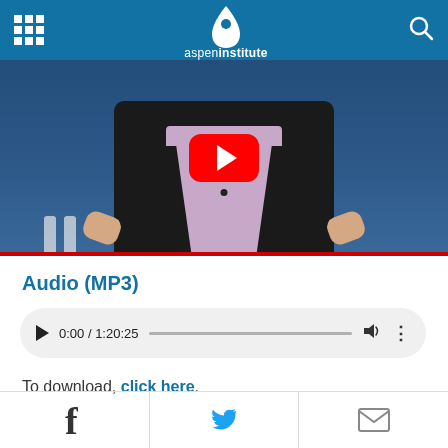Aspen Institute navigation header
[Figure (screenshot): Embedded YouTube video player showing a man in a black jacket gesturing, with a red YouTube play button overlay in the center, on a blue background]
Audio (MP3)
[Figure (other): HTML5 audio player showing 0:00 / 1:20:25 with play button, progress bar, volume and options controls on a light grey rounded background]
To download, click here.
[Figure (other): Social sharing bar with Facebook, Twitter, and email icons]